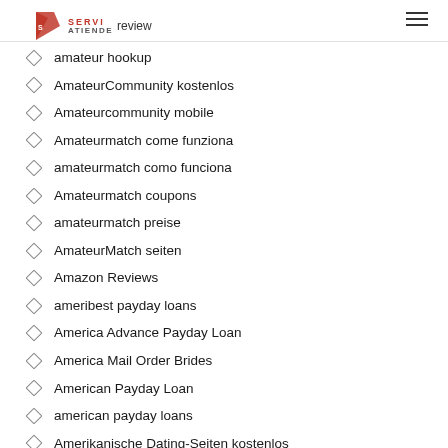SERVI ATIENDE review
amateur hookup
AmateurCommunity kostenlos
Amateurcommunity mobile
Amateurmatch come funziona
amateurmatch como funciona
Amateurmatch coupons
amateurmatch preise
AmateurMatch seiten
Amazon Reviews
ameribest payday loans
America Advance Payday Loan
America Mail Order Brides
American Payday Loan
american payday loans
Amerikanische Dating-Seiten kostenlos
amino gratuit